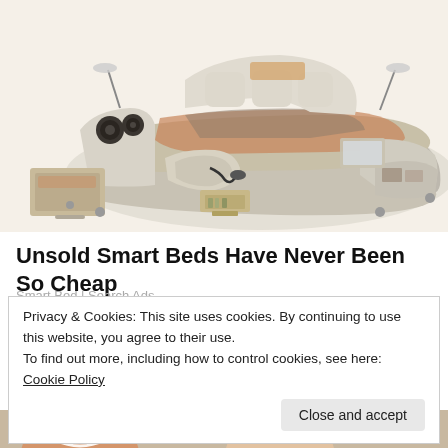[Figure (photo): A luxury smart bed with multiple features including speakers, massage chair, storage drawers, reading lights, laptop tray, and shelving, shown in a product advertisement photo on a white background.]
Unsold Smart Beds Have Never Been So Cheap
Smart Bed | Search Ads
Privacy & Cookies: This site uses cookies. By continuing to use this website, you agree to their use.
To find out more, including how to control cookies, see here: Cookie Policy
Close and accept
[Figure (photo): Partial view of a smiling person at the bottom of the page, cropped.]